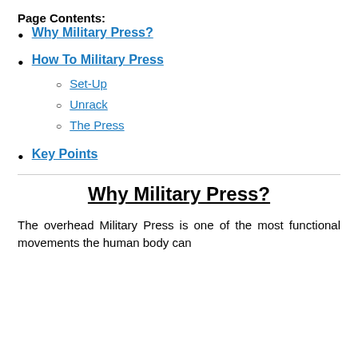Page Contents:
Why Military Press?
How To Military Press
Set-Up
Unrack
The Press
Key Points
Why Military Press?
The overhead Military Press is one of the most functional movements the human body can